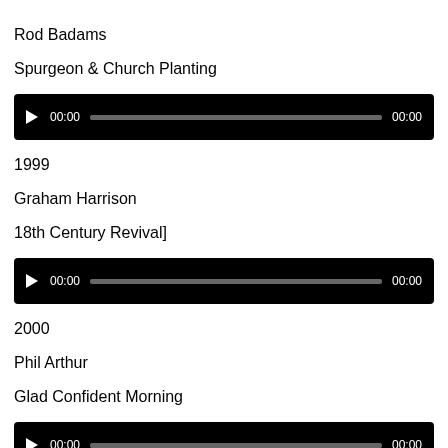Rod Badams
Spurgeon & Church Planting
[Figure (other): Audio player widget showing 00:00 start time and 00:00 end time with a progress bar]
1999
Graham Harrison
18th Century Revival]
[Figure (other): Audio player widget showing 00:00 start time and 00:00 end time with a progress bar]
2000
Phil Arthur
Glad Confident Morning
[Figure (other): Audio player widget showing 00:00 start time and 00:00 end time with a progress bar]
2000